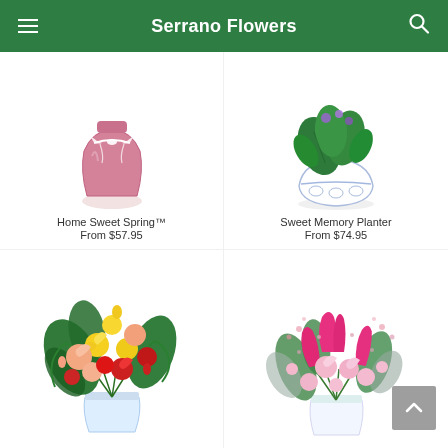Serrano Flowers
[Figure (photo): Home Sweet Spring product - pink vase with white ribbon bow]
Home Sweet Spring™
From $57.95
[Figure (photo): Sweet Memory Planter - green tropical plant in blue and white ceramic pot]
Sweet Memory Planter
From $74.95
[Figure (photo): Colorful mixed rose bouquet with yellow, peach, and red roses in a clear vase]
[Figure (photo): Pink tulip and spray rose bouquet in a clear vase]